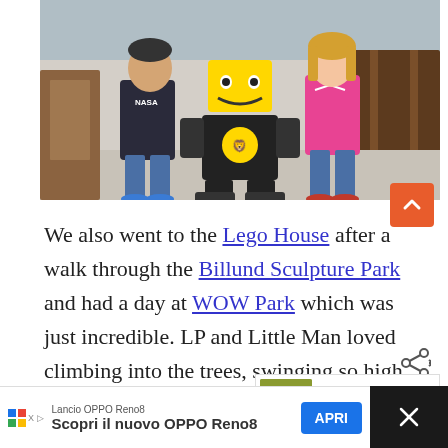[Figure (photo): Two children posing with a large LEGO Nexo Knights minifigure statue outside a building. Left child wears a dark NASA hoodie and jeans with blue shoes. Right child wears a pink/red hoodie. The LEGO figure is black and yellow with a lion emblem on its chest.]
We also went to the Lego House after a walk through the Billund Sculpture Park and had a day at WOW Park which was just incredible. LP and Little Man loved climbing into the trees, swinging so high and exploring. What an adventure it was.
[Figure (infographic): WHAT'S NEXT → Our Favourite Simple... widget with a food thumbnail image]
Lancio OPPO Reno8 Scopri il nuovo OPPO Reno8